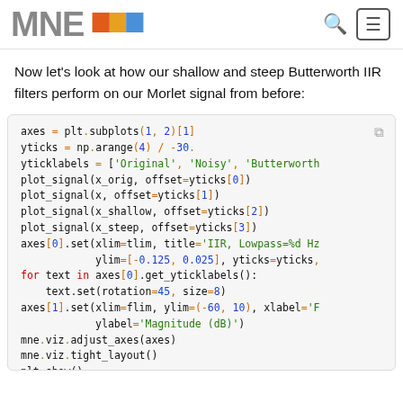MNE [logo bar] [search icon] [menu icon]
Now let's look at how our shallow and steep Butterworth IIR filters perform on our Morlet signal from before:
[Figure (screenshot): Python code block showing matplotlib/MNE code for plotting signals with axes setup, ytick labels, and layout adjustment]